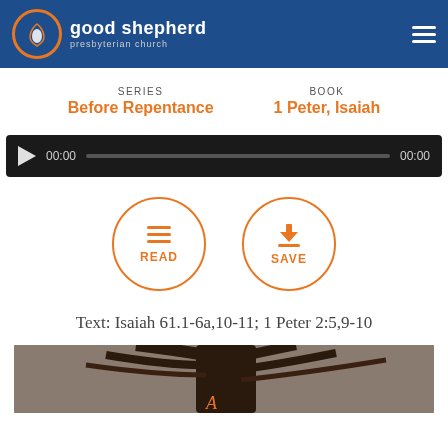[Figure (logo): Good Shepherd Presbyterian Church logo with orange circle icon and white text on blue header bar]
SERIES
Before Repentance
BOOK
1 Peter, Isaiah
[Figure (screenshot): Audio player bar with play button, 00:00 timestamp, progress bar, and 00:00 end time on dark background]
[Figure (infographic): Two circular orange-outlined buttons: READ (with lines icon) and SAVE (with download icon)]
Text: Isaiah 61.1-6a,10-11; 1 Peter 2:5,9-10
[Figure (photo): Photo of bare tree branches against a light sky with a letter A visible at the bottom]